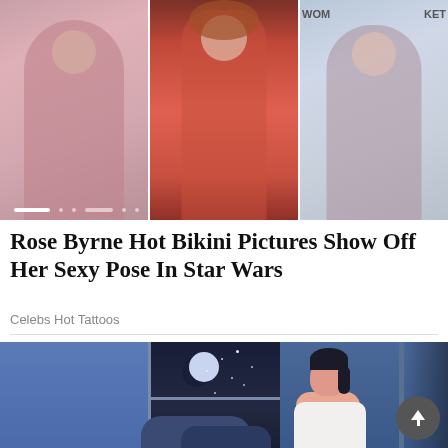[Figure (photo): Three photos of Rose Byrne side by side: left photo shows her in a pink dress, center photo shows her in a deep-V red dress, right photo shows her in a floral dress with 'WOM' and 'KET' text visible on banner behind her. Slide indicator dots appear at the bottom of the image strip.]
Rose Byrne Hot Bikini Pictures Show Off Her Sexy Pose In Star Wars
Celebs Hot Tattoos
[Figure (illustration): Flat-style illustration of a person sitting by a window at night. The scene shows a dark blue night sky with a crescent moon and stars visible through the window. Clouds are at the bottom of the window. A person with dark hair wearing a white tank top is visible on the right side. A scroll-to-top button (dark circle with up arrow) is in the bottom right corner.]